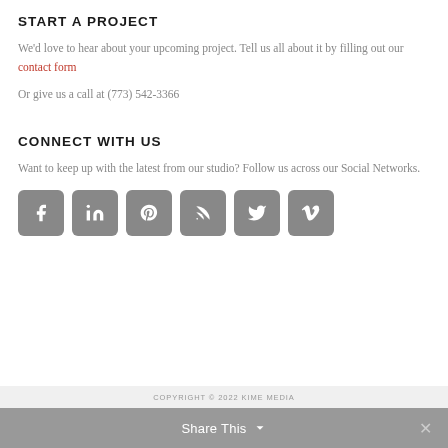START A PROJECT
We'd love to hear about your upcoming project. Tell us all about it by filling out our contact form
Or give us a call at (773) 542-3366
CONNECT WITH US
Want to keep up with the latest from our studio? Follow us across our Social Networks.
[Figure (infographic): Six social media icon buttons (Facebook, LinkedIn, Pinterest, RSS, Twitter, Vimeo) displayed as rounded square gray icons with white symbols]
COPYRIGHT © 2022 KIME MEDIA
Share This ∨  ×